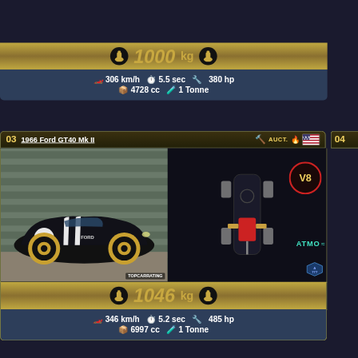1000 kg
306 km/h  5.5 sec  380 hp  4728 cc  1 Tonne
03  1966 Ford GT40 Mk II  AUCT.
[Figure (photo): Black 1966 Ford GT40 Mk II race car with number 2, white stripes, gold wheels, photographed in front of a gray corrugated metal building]
[Figure (schematic): Engine layout diagram showing mid-engine rear-wheel-drive configuration with V8 badge and ATMO label]
1046 kg
346 km/h  5.2 sec  485 hp  6997 cc  1 Tonne